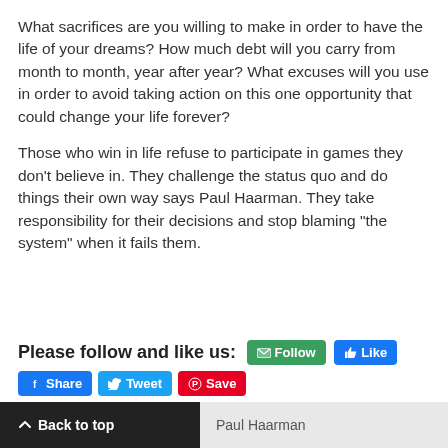What sacrifices are you willing to make in order to have the life of your dreams? How much debt will you carry from month to month, year after year? What excuses will you use in order to avoid taking action on this one opportunity that could change your life forever?
Those who win in life refuse to participate in games they don't believe in. They challenge the status quo and do things their own way says Paul Haarman. They take responsibility for their decisions and stop blaming “the system” when it fails them.
Please follow and like us: [Follow] [Like] [Share] [Tweet] [Save]
Back to top | Paul Haarman